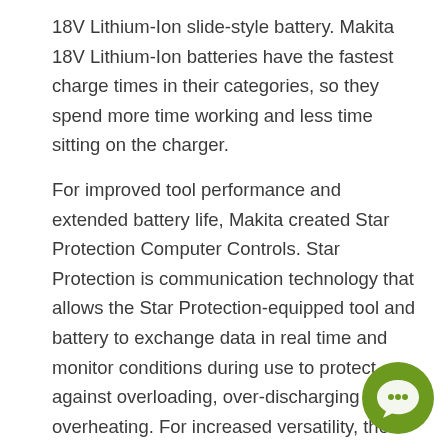18V Lithium-Ion slide-style battery. Makita 18V Lithium-Ion batteries have the fastest charge times in their categories, so they spend more time working and less time sitting on the charger.
For improved tool performance and extended battery life, Makita created Star Protection Computer Controls. Star Protection is communication technology that allows the Star Protection-equipped tool and battery to exchange data in real time and monitor conditions during use to protect against overloading, over-discharging and overheating. For increased versatility, the tool can also be powered by Makita 18V LXT and Compact Lithium-Ion batteries with the star symbol on the battery indicating Star Protection inside.
[Figure (illustration): Green circular chat/support button icon with speech bubble symbol, positioned in the bottom-right corner of the page.]